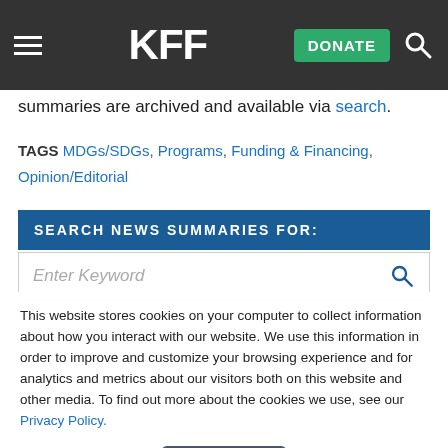KFF — DONATE (nav bar)
summaries are archived and available via search.
TAGS   MDGs/SDGs, Programs, Funding & Financing, Opinion/Editorial
SEARCH NEWS SUMMARIES FOR:
Enter Keyword
This website stores cookies on your computer to collect information about how you interact with our website. We use this information in order to improve and customize your browsing experience and for analytics and metrics about our visitors both on this website and other media. To find out more about the cookies we use, see our Privacy Policy.
Accept